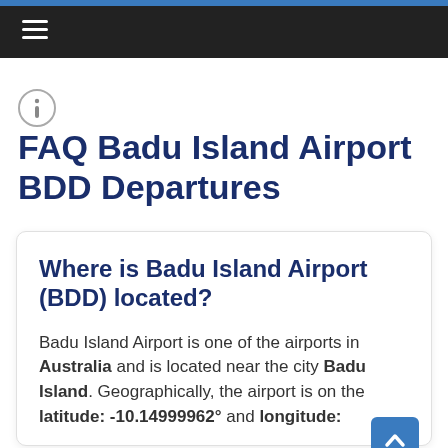≡
FAQ Badu Island Airport BDD Departures
Where is Badu Island Airport (BDD) located?
Badu Island Airport is one of the airports in Australia and is located near the city Badu Island. Geographically, the airport is on the latitude: -10.14999962° and longitude: 142.1734° and is elevated 14 meters above